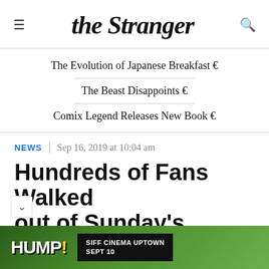the Stranger
The Evolution of Japanese Breakfast 🔗
The Beast Disappoints 🔗
Comix Legend Releases New Book 🔗
NEWS  |  Sep 16, 2019 at 10:04 am
Hundreds of Fans Walked out of Sunday's Sounders…
[Figure (photo): HUMP! advertisement banner with SIFF Cinema Uptown Sept 10 text on green background]